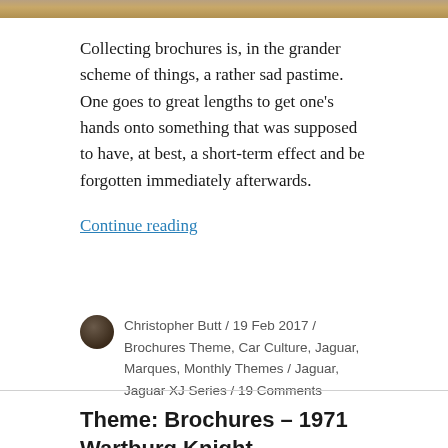[Figure (photo): Top image strip showing partial photo, appears to be a car or automotive related image]
Collecting brochures is, in the grander scheme of things, a rather sad pastime. One goes to great lengths to get one’s hands onto something that was supposed to have, at best, a short-term effect and be forgotten immediately afterwards.
Continue reading
Christopher Butt / 19 Feb 2017 / Brochures Theme, Car Culture, Jaguar, Marques, Monthly Themes / Jaguar, Jaguar XJ Series / 19 Comments
Theme: Brochures – 1971 Wartburg Knight